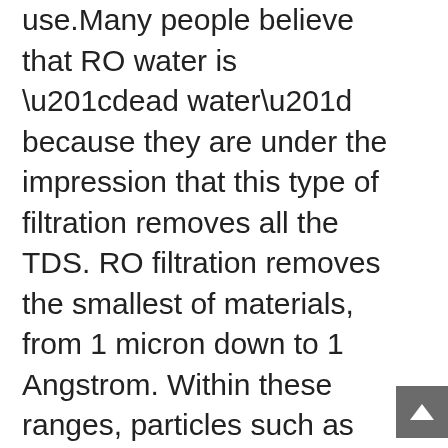use.Many people believe that RO water is “dead water” because they are under the impression that this type of filtration removes all the TDS. RO filtration removes the smallest of materials, from 1 micron down to 1 Angstrom. Within these ranges, particles such as metal ions, viruses, asbestos, fine dust, atmospheric dust, protozoan cysts, and bacteria are removed during the RO process. The Center for Disease Control has created a guide for water filtration, you can view that here. Research shows that RO membranes remove an average of 90-95% of TDS from your water supply, meaning that trace